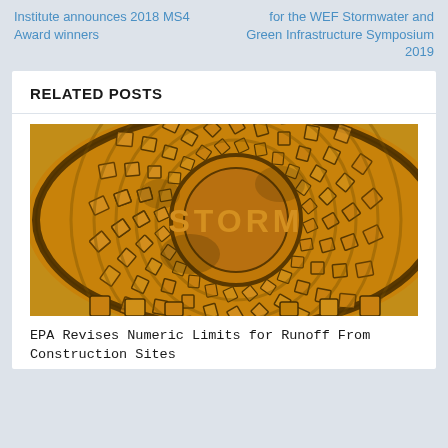Institute announces 2018 MS4 Award winners
for the WEF Stormwater and Green Infrastructure Symposium 2019
RELATED POSTS
[Figure (photo): Close-up photograph of a yellow/orange storm drain cover with the word STORM embossed on it, showing a circular pattern of raised tiles/squares.]
EPA Revises Numeric Limits for Runoff From Construction Sites